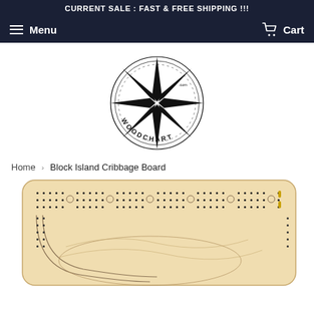CURRENT SALE : FAST & FREE SHIPPING !!!
Menu  Cart
[Figure (logo): WoodChart.com compass rose logo with star and decorative border]
Home › Block Island Cribbage Board
[Figure (photo): Top portion of a Block Island Cribbage Board — a wooden board with engraved nautical chart design and rows of pegging holes]